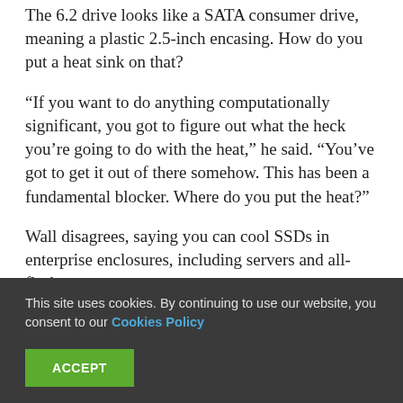The 6.2 drive looks like a SATA consumer drive, meaning a plastic 2.5-inch encasing. How do you put a heat sink on that?
“If you want to do anything computationally significant, you got to figure out what the heck you’re going to do with the heat,” he said. “You’ve got to get it out of there somehow. This has been a fundamental blocker. Where do you put the heat?”
Wall disagrees, saying you can cool SSDs in enterprise enclosures, including servers and all-flash
This site uses cookies. By continuing to use our website, you consent to our Cookies Policy